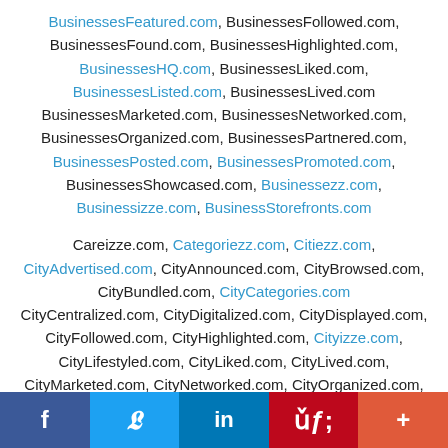BusinessesFeatured.com, BusinessesFollowed.com, BusinessesFound.com, BusinessesHighlighted.com, BusinessesHQ.com, BusinessesLiked.com, BusinessesListed.com, BusinessesLived.com BusinessesMarketed.com, BusinessesNetworked.com, BusinessesOrganized.com, BusinessesPartnered.com, BusinessesPosted.com, BusinessesPromoted.com, BusinessesShowcased.com, Businessezz.com, Businessizze.com, BusinessStorefronts.com
Careizze.com, Categoriezz.com, Citiezz.com, CityAdvertised.com, CityAnnounced.com, CityBrowsed.com, CityBundled.com, CityCategories.com CityCentralized.com, CityDigitalized.com, CityDisplayed.com, CityFollowed.com, CityHighlighted.com, Cityizze.com, CityLifestyled.com, CityLiked.com, CityLived.com, CityMarketed.com, CityNetworked.com, CityOrganized.com, CityPartnered.com, CityPosted.com, CityPromoted.com,
f  twitter  in  P  +